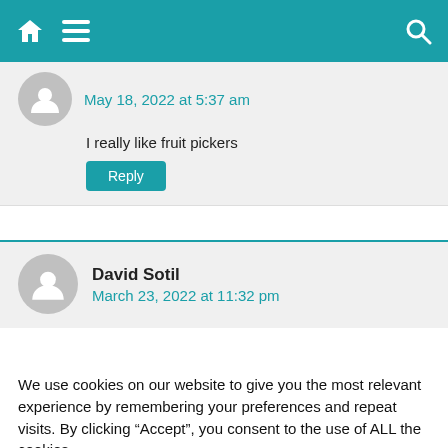Navigation bar with home, menu, and search icons
May 18, 2022 at 5:37 am
I really like fruit pickers
Reply
David Sotil
March 23, 2022 at 11:32 pm
We use cookies on our website to give you the most relevant experience by remembering your preferences and repeat visits. By clicking “Accept”, you consent to the use of ALL the cookies.
Reject.
Cookie Settings
Accept